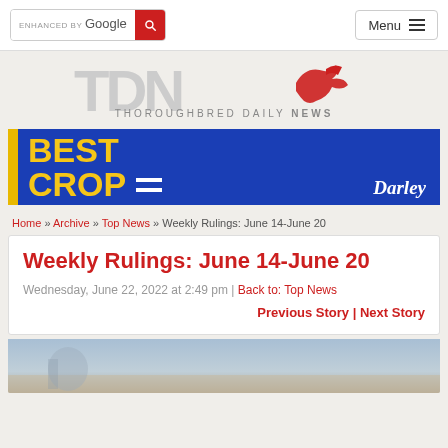ENHANCED BY Google [search] Menu
[Figure (logo): TDN Thoroughbred Daily News logo with large grey TDN letters and red horse icon]
[Figure (illustration): BEST CROP advertisement banner with yellow text on blue background, Darley branding]
Home » Archive » Top News » Weekly Rulings: June 14-June 20
Weekly Rulings: June 14-June 20
Wednesday, June 22, 2022 at 2:49 pm | Back to: Top News
Previous Story | Next Story
[Figure (photo): Partial photo visible at bottom of page showing sky and ground]